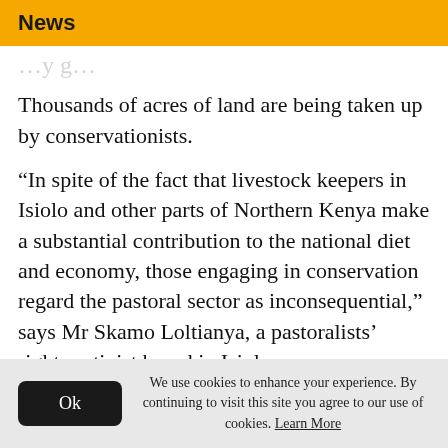News
Thousands of acres of land are being taken up by conservationists.
“In spite of the fact that livestock keepers in Isiolo and other parts of Northern Kenya make a substantial contribution to the national diet and economy, those engaging in conservation regard the pastoral sector as inconsequential,” says Mr Skamo Loltianya, a pastoralists’ rights activist based in Isiolo.
We use cookies to enhance your experience. By continuing to visit this site you agree to our use of cookies. Learn More